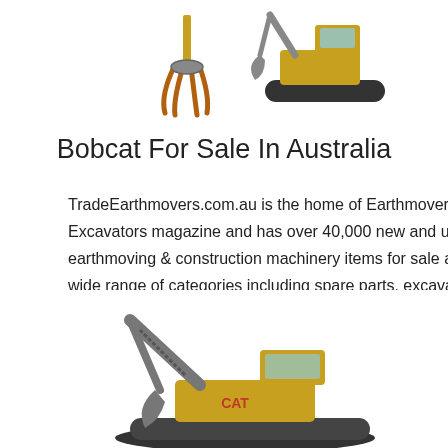[Figure (illustration): Two construction machines: a grapple/claw attachment on the left and a CAT excavator on the right, shown at the top of the page]
Bobcat For Sale In Australia
TradeEarthmovers.com.au is the home of Earthmovers & Excavators magazine and has over 40,000 new and used earthmoving & construction machinery items for sale across a wide range of categories including spare parts, excavators,
[Figure (illustration): Red button labeled 'Get a quote']
[Figure (illustration): Dark grey sidebar with Chat icon, Email icon, and Contact icon with speech bubble]
[Figure (illustration): CAT excavator shown at bottom of the page]